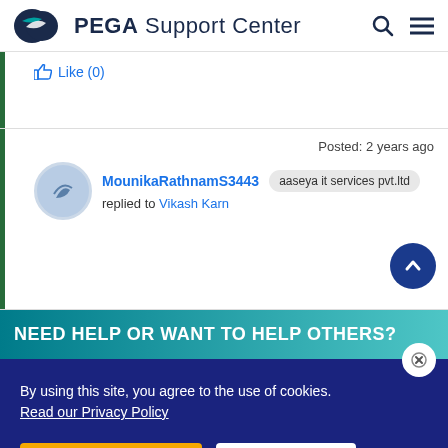PEGA Support Center
Like (0)
Posted: 2 years ago
[Figure (illustration): User avatar circle with bird/pega logo icon in blue-grey tones]
MounikaRathnamS3443  aaseya it services pvt.ltd
replied to Vikash Karn
NEED HELP OR WANT TO HELP OTHERS?
By using this site, you agree to the use of cookies.
Read our Privacy Policy
Accept and continue
About cookies